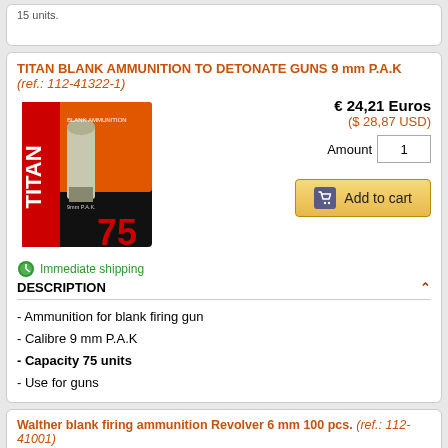15 units.
TITAN BLANK AMMUNITION TO DETONATE GUNS 9 mm P.A.K (ref.: 112-41322-1)
[Figure (photo): Box of Titan blank ammunition 9mm PAK, 75 units, showing product packaging with fire imagery]
€ 24,21 Euros
($ 28,87 USD)
Amount 1
Add to cart
Immediate shipping
DESCRIPTION
- Ammunition for blank firing gun
- Calibre 9 mm P.A.K
- Capacity 75 units
- Use for guns
Walther blank firing ammunition Revolver 6 mm 100 pcs. (ref.: 112-41001)
€ 12,55 Euros
($ 14,97 USD)
Amount 1
Contact by Whataspp